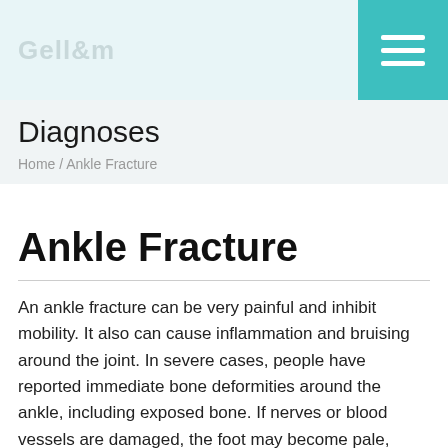Diagnoses
Home / Ankle Fracture
Ankle Fracture
An ankle fracture can be very painful and inhibit mobility. It also can cause inflammation and bruising around the joint. In severe cases, people have reported immediate bone deformities around the ankle, including exposed bone. If nerves or blood vessels are damaged, the foot may become pale, numb, or paralyzed. Ankle fractures occur when a person places too much stress on the ankle, beyond what the ankle can handle. Ligament tears can occur along with